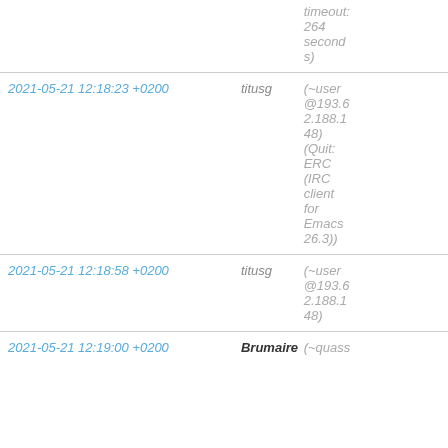| date | user | info |
| --- | --- | --- |
|  |  | timeout: 264 seconds) |
| 2021-05-21 12:18:23 +0200 | titusg | (~user@193.62.188.148) (Quit: ERC (IRC client for Emacs 26.3)) |
| 2021-05-21 12:18:58 +0200 | titusg | (~user@193.62.188.148) |
| 2021-05-21 12:19:00 +0200 | Brumaire | (~quass |